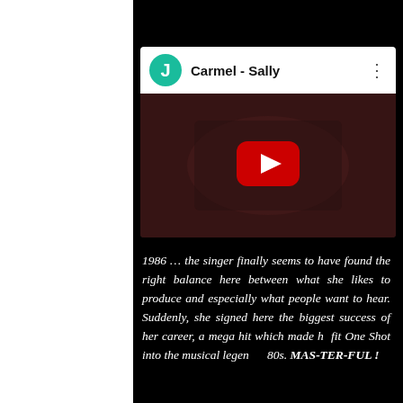[Figure (screenshot): YouTube-style video card embed showing 'Carmel - Sally' with a green avatar circle with letter J, a video thumbnail with play button, and a three-dots menu icon.]
1986 ... the singer finally seems to have found the right balance here between what she likes to produce and especially what people want to hear. Suddenly, she signed here the biggest success of her career, a mega hit which made her fit One Shot into the musical legend of the 80s. MAS-TER-FUL !